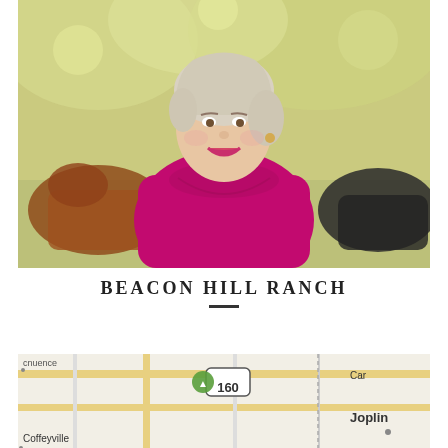[Figure (photo): A smiling woman with short blonde-gray hair wearing a bright magenta/pink top, standing outdoors in front of trees with cattle in the background.]
BEACON HILL RANCH
[Figure (map): A road map showing the area around Joplin, Missouri including Coffeyville and route 160. Partial text visible: cnuence, Car, Joplin, Coffeyville, 160.]